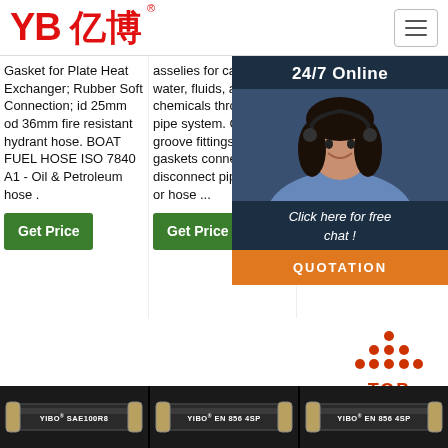[Figure (logo): YB亿博 company logo in red with registered trademark symbol]
Gasket for Plate Heat Exchanger; Rubber Soft Connection; id 25mm od 36mm fire resistant hydrant hose. BOAT FUEL HOSE ISO 7840 A1 - Oil & Petroleum hose .
asselies for carrying air, water, fluids, and chemicals through a pipe system. Cam and groove fittings and gaskets connect or disconnect pipe, tubing, or hose ...
Material For Sulfuric Acid; id 25mm od 36mm fire resistant hydrant hose. BOAT FUEL HOSE ISO 7840 A1 - Oil & Petroleum hose . Rubber hose transparent EN 856 4SP
[Figure (other): 24/7 Online chat overlay with photo of woman wearing headset, click here for free chat, QUOTATION button]
[Figure (other): TOP arrow button graphic in orange/red]
[Figure (photo): Three product hose images at bottom: YIBO SAE100R8, YIBO EN 856 4SP, YIBO EN 856 4SP]